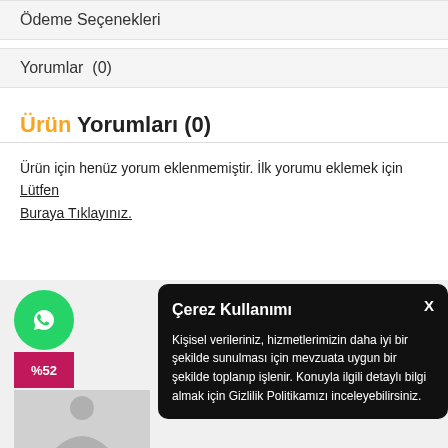Ödeme Seçenekleri
Yorumlar  (0)
Ürün Yorumları (0)
Ürün için henüz yorum eklenmemiştir. İlk yorumu eklemek için Lütfen Buraya Tıklayınız.
[Figure (infographic): Green WhatsApp button circle icon with %52 discount badge below it, and a product image placeholder showing a person]
Çerez Kullanımı
Kişisel verileriniz, hizmetlerimizin daha iyi bir şekilde sunulması için mevzuata uygun bir şekilde toplanıp işlenir. Konuyla ilgili detaylı bilgi almak için Gizlilik Politikamızı inceleyebilirsiniz.